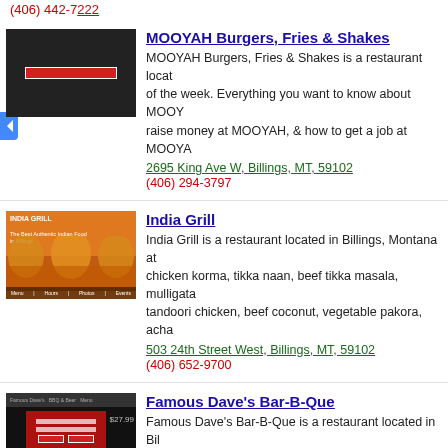(406) 442-7222
MOOYAH Burgers, Fries & Shakes
MOOYAH Burgers, Fries & Shakes is a restaurant located of the week. Everything you want to know about MOOY raise money at MOOYAH, & how to get a job at MOOYA
2695 King Ave W, Billings, MT, 59102
(406) 294-3797
India Grill
India Grill is a restaurant located in Billings, Montana at chicken korma, tikka naan, beef tikka masala, mulligata tandoori chicken, beef coconut, vegetable pakora, acha
503 24th Street West, Billings, MT, 59102
(406) 652-9700
Famous Dave's Bar-B-Que
Famous Dave's Bar-B-Que is a restaurant located in Bil of the week. Welcome to the longest-running backyard everything we do…. A passion for authentic BBQ is beh
2883 King Avenue West, Billings, MT, 59102
(406) 652-4880
Red Robin Gourmet Burgers
Red Robin Gourmet Burgers is a restaurant located in B the week. Red Robin was founded on four core values: Learn more about Red Robin. Sure, we're burgers. But
1595 Grand Avenue, Billings, MT, 59102
(406) 248-7778